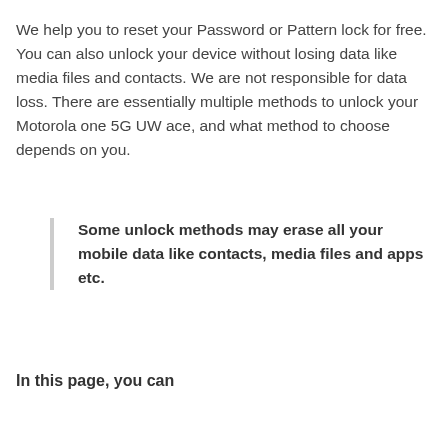We help you to reset your Password or Pattern lock for free. You can also unlock your device without losing data like media files and contacts. We are not responsible for data loss. There are essentially multiple methods to unlock your Motorola one 5G UW ace, and what method to choose depends on you.
Some unlock methods may erase all your mobile data like contacts, media files and apps etc.
In this page, you can